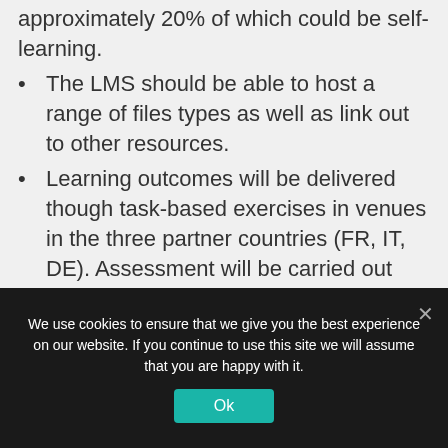approximately 20% of which could be self-learning.
The LMS should be able to host a range of files types as well as link out to other resources.
Learning outcomes will be delivered though task-based exercises in venues in the three partner countries (FR, IT, DE). Assessment will be carried out through review of achievement of the tasks.
The three courses will be based
We use cookies to ensure that we give you the best experience on our website. If you continue to use this site we will assume that you are happy with it.